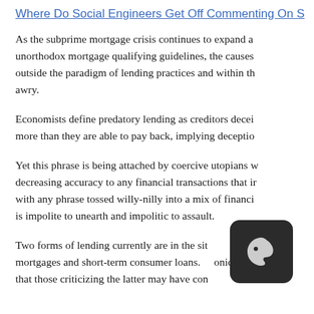Where Do Social Engineers Get Off Commenting On S
As the subprime mortgage crisis continues to expand and unorthodox mortgage qualifying guidelines, the causes outside the paradigm of lending practices and within the awry.
Economists define predatory lending as creditors deceiving more than they are able to pay back, implying deception
Yet this phrase is being attached by coercive utopians with decreasing accuracy to any financial transactions that in with any phrase tossed willy-nilly into a mix of financial is impolite to unearth and impolitic to assault.
Two forms of lending currently are in the site of self-p mortgages and short-term consumer loans. Ironically that those criticizing the latter may have contributed to